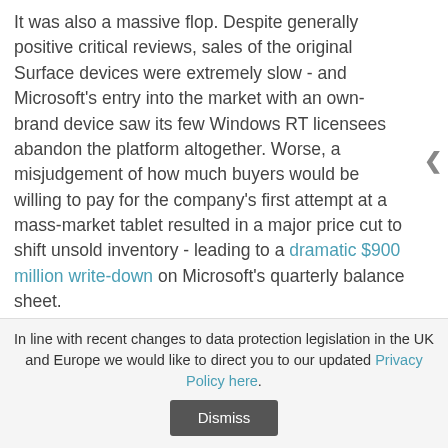It was also a massive flop. Despite generally positive critical reviews, sales of the original Surface devices were extremely slow - and Microsoft's entry into the market with an own-brand device saw its few Windows RT licensees abandon the platform altogether. Worse, a misjudgement of how much buyers would be willing to pay for the company's first attempt at a mass-market tablet resulted in a major price cut to shift unsold inventory - leading to a dramatic $900 million write-down on Microsoft's quarterly balance sheet.
The price cut, however, seemed to do the trick. Sales started to pick up, and with the recent launch of the Surface 2 and Surface Pro 2 addressing many of the criticisms levelled against their predecessors, the company's gamble looks to be heading in the right direction.
In line with recent changes to data protection legislation in the UK and Europe we would like to direct you to our updated Privacy Policy here.